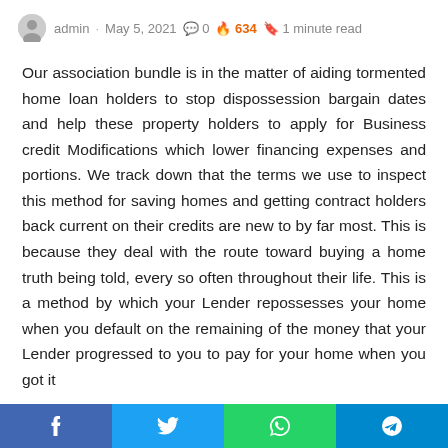admin · May 5, 2021  0  634  1 minute read
Our association bundle is in the matter of aiding tormented home loan holders to stop dispossession bargain dates and help these property holders to apply for Business credit Modifications which lower financing expenses and portions. We track down that the terms we use to inspect this method for saving homes and getting contract holders back current on their credits are new to by far most. This is because they deal with the route toward buying a home truth being told, every so often throughout their life. This is a method by which your Lender repossesses your home when you default on the remaining of the money that your Lender progressed to you to pay for your home when you got it
f  y  (whatsapp)  (telegram)